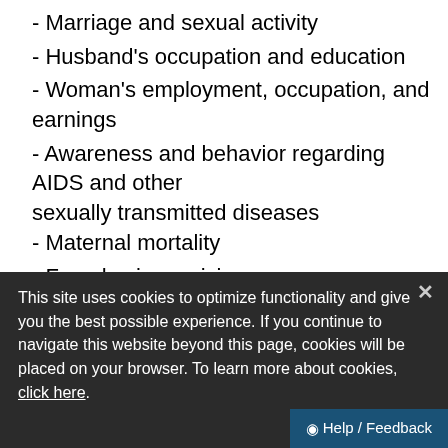- Marriage and sexual activity
- Husband's occupation and education
- Woman's employment, occupation, and earnings
- Awareness and behavior regarding AIDS and other sexually transmitted diseases
- Maternal mortality
- Female circumcision
- Height and weight of children under five years and their mothers.
This site uses cookies to optimize functionality and give you the best possible experience. If you continue to navigate this website beyond this page, cookies will be placed on your browser. To learn more about cookies, click here.
Morogoro, Shinyanga, and Iringa reg... every second household was selected for the male...